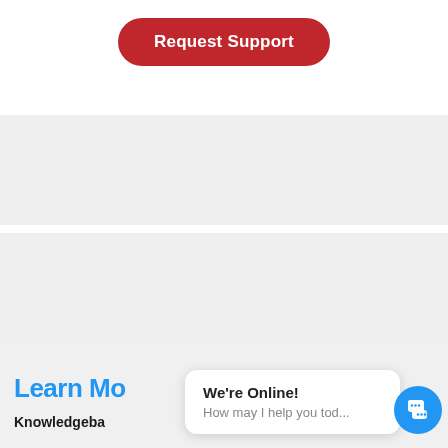[Figure (screenshot): Red rounded button labeled 'Request Support' on white background]
[Figure (screenshot): Gray band section 1 - empty content area]
[Figure (screenshot): Gray band section 2 - empty content area]
Learn Mo
Knowledgeba
[Figure (screenshot): Live chat popup with 'We're Online! How may I help you tod...' and blue chat icon button]